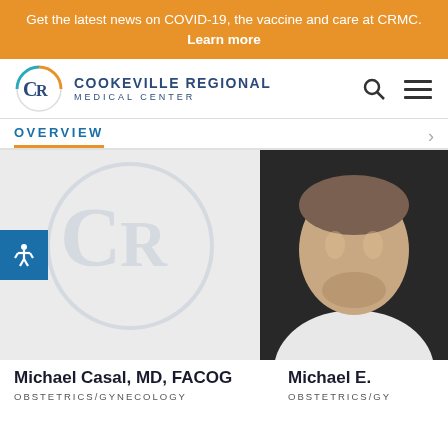Get the latest news on COVID-19, the vaccine and care at CRMC. Learn more
[Figure (logo): Cookeville Regional Medical Center logo with circular CR emblem and text]
OVERVIEW
[Figure (photo): Left doctor card with CRMC watermark placeholder logo on grey background]
[Figure (photo): Right doctor card showing a man in white coat against dark background, partially cropped]
Michael Casal, MD, FACOG
OBSTETRICS/GYNECOLOGY
Michael E.
OBSTETRICS/GY